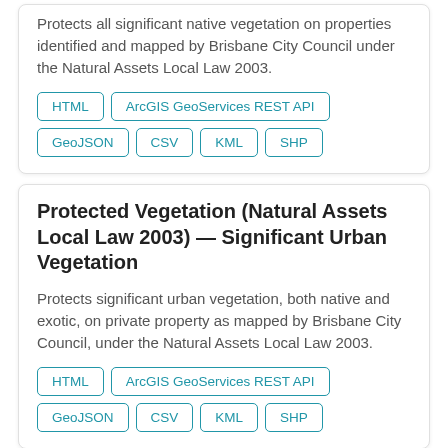Protects all significant native vegetation on properties identified and mapped by Brisbane City Council under the Natural Assets Local Law 2003.
HTML
ArcGIS GeoServices REST API
GeoJSON
CSV
KML
SHP
Protected Vegetation (Natural Assets Local Law 2003) — Significant Urban Vegetation
Protects significant urban vegetation, both native and exotic, on private property as mapped by Brisbane City Council, under the Natural Assets Local Law 2003.
HTML
ArcGIS GeoServices REST API
GeoJSON
CSV
KML
SHP